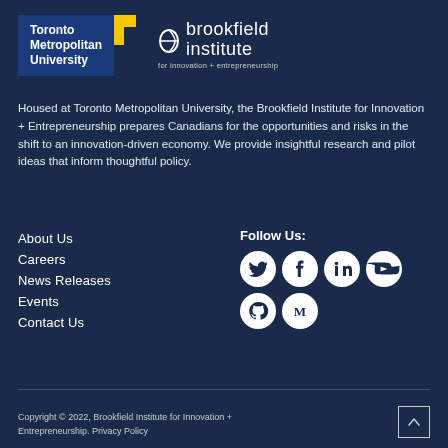[Figure (logo): Toronto Metropolitan University logo — white text on dark blue rectangle with yellow accent stripe, beside Brookfield Institute for innovation + entrepreneurship logo in white]
Housed at Toronto Metropolitan University, the Brookfield Institute for Innovation + Entrepreneurship prepares Canadians for the opportunities and risks in the shift to an innovation-driven economy. We provide insightful research and pilot ideas that inform thoughtful policy.
About Us
Careers
News Releases
Events
Contact Us
Follow Us:
[Figure (other): Social media icons: Twitter, Facebook, LinkedIn, YouTube, GitHub, Medium — white icons on white circle backgrounds]
Copyright © 2022, Brookfield Institute for Innovation + Entrepreneurship. Privacy Policy